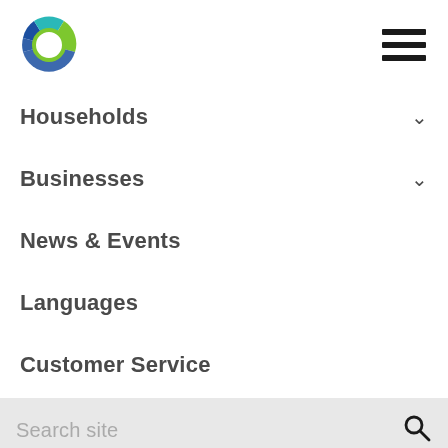[Figure (logo): Circular logo with blue, teal, and green ring segments around a white center circle]
Households
Businesses
News & Events
Languages
Customer Service
Search site